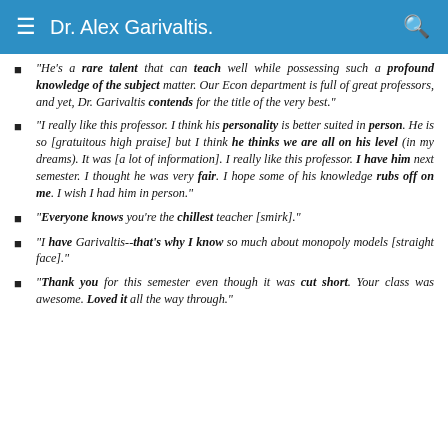Dr. Alex Garivaltis.
"He's a rare talent that can teach well while possessing such a profound knowledge of the subject matter. Our Econ department is full of great professors, and yet, Dr. Garivaltis contends for the title of the very best."
"I really like this professor. I think his personality is better suited in person. He is so [gratuitous high praise] but I think he thinks we are all on his level (in my dreams). It was [a lot of information]. I really like this professor. I have him next semester. I thought he was very fair. I hope some of his knowledge rubs off on me. I wish I had him in person."
"Everyone knows you're the chillest teacher [smirk]."
"I have Garivaltis--that's why I know so much about monopoly models [straight face]."
"Thank you for this semester even though it was cut short. Your class was awesome. Loved it all the way through."